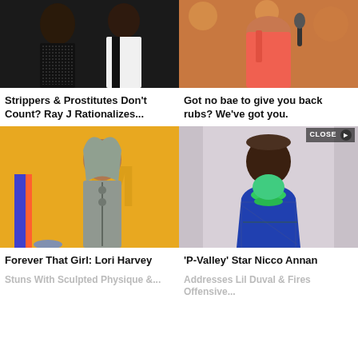[Figure (photo): Two people at an event, one in black sequined outfit, one in white suit]
Strippers & Prostitutes Don't Count? Ray J Rationalizes...
[Figure (photo): Woman in pink/coral tank top, fitness setting]
Got no bae to give you back rubs? We've got you.
[Figure (photo): Young woman in grey hoodie vest at a premiere, orange/yellow background]
Forever That Girl: Lori Harvey
Stuns With Sculpted Physique &...
[Figure (photo): Man in blue patterned blazer with green necklace]
'P-Valley' Star Nicco Annan
Addresses Lil Duval & Fires Offensive...